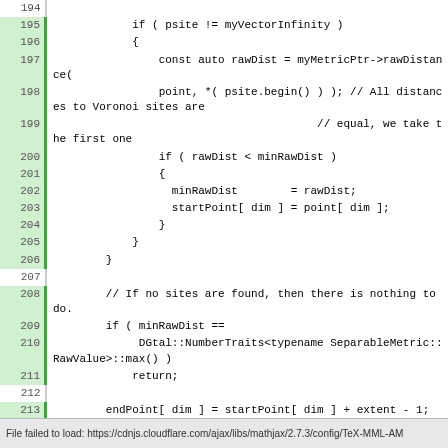[Figure (screenshot): Code editor screenshot showing C++ source code lines 194-217 with line numbers on left, green highlighted modified lines, and code content on right]
File failed to load: https://cdnjs.cloudflare.com/ajax/libs/mathjax/2.7.3/config/TeX-MML-AM...